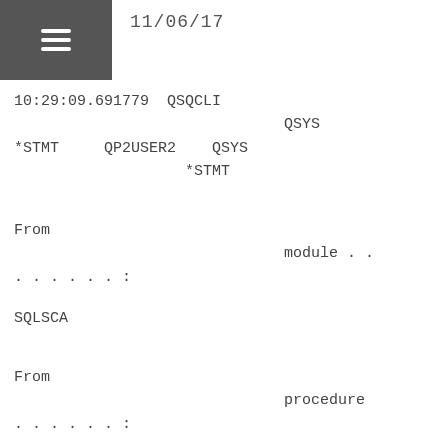11/06/17
10:29:09.691779  QSQCLI
                              QSYS
*STMT     QP2USER2    QSYS
                   *STMT
From
                              module . .
. . . . . . :

SQLSCA
From
                              procedure
. . . . . . :

SQLSetConnectAttr